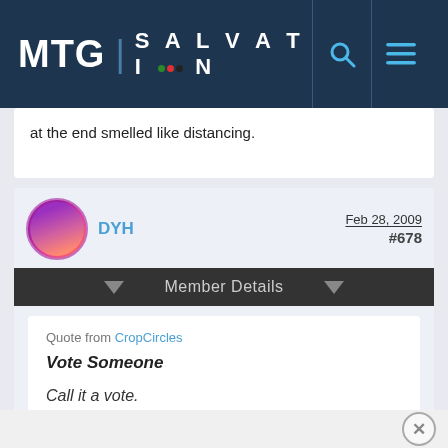MTG SALVATION
at the end smelled like distancing.
DYH  Feb 28, 2009  #678
Member Details
Quote from CropCircles
Vote Someone
Call it a vote.